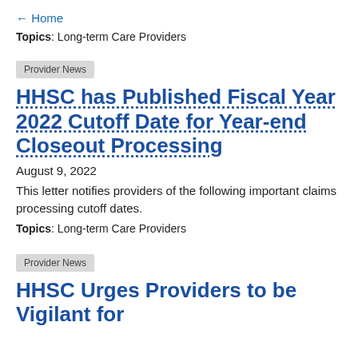← Home
Topics: Long-term Care Providers
Provider News
HHSC has Published Fiscal Year 2022 Cutoff Date for Year-end Closeout Processing
August 9, 2022
This letter notifies providers of the following important claims processing cutoff dates.
Topics: Long-term Care Providers
Provider News
HHSC Urges Providers to be Vigilant for